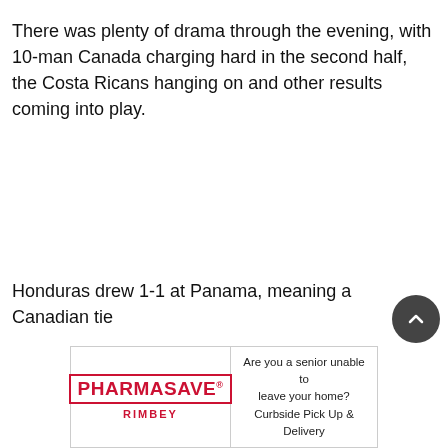There was plenty of drama through the evening, with 10-man Canada charging hard in the second half, the Costa Ricans hanging on and other results coming into play.
Honduras drew 1-1 at Panama, meaning a Canadian tie
[Figure (other): Pharmasave Rimbey advertisement banner: 'Are you a senior unable to leave your home? Curbside Pick Up & Delivery']